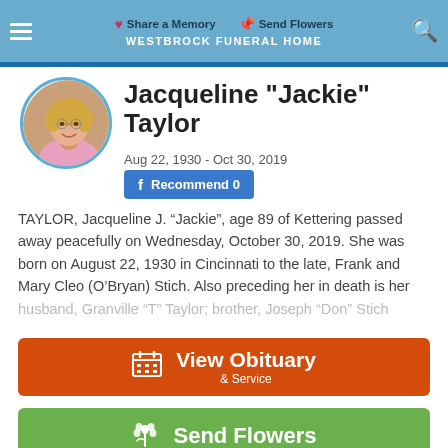Share a Memory   WESTBROCK FUNERAL HOME   Send Flowers
[Figure (photo): Circular portrait photo of Jacqueline Taylor, an elderly woman with short blonde hair, wearing a pink top]
Jacqueline "Jackie" Taylor
Aug 22, 1930 - Oct 30, 2019
Recommend 0
TAYLOR, Jacqueline J. “Jackie”, age 89 of Kettering passed away peacefully on Wednesday, October 30, 2019. She was born on August 22, 1930 in Cincinnati to the late, Frank and Mary Cleo (O’Bryan) Stich. Also preceding her in death is her husband, Granville “T” Taylor; brother, Joseph “Don” Stich
View Obituary & Service
Send Flowers